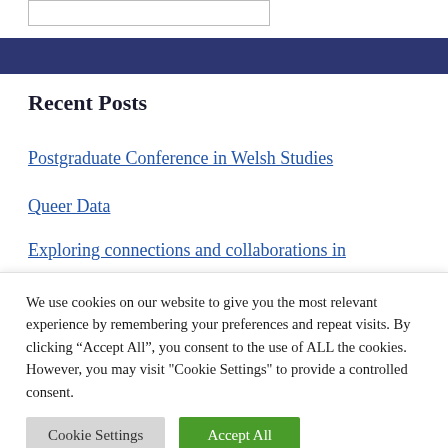[Figure (other): Partial search or input box with border, partially visible at top of page]
[Figure (other): Dark navy blue horizontal banner bar]
Recent Posts
Postgraduate Conference in Welsh Studies
Queer Data
Exploring connections and collaborations in
We use cookies on our website to give you the most relevant experience by remembering your preferences and repeat visits. By clicking “Accept All”, you consent to the use of ALL the cookies. However, you may visit "Cookie Settings" to provide a controlled consent.
Cookie Settings   Accept All